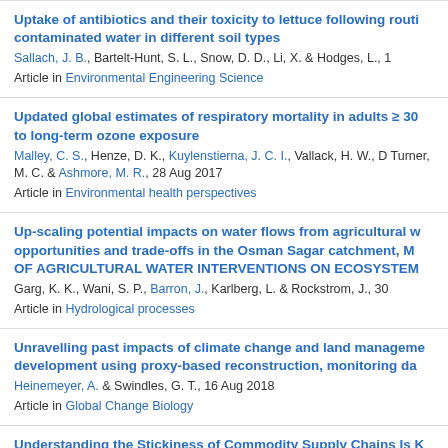Uptake of antibiotics and their toxicity to lettuce following routi contaminated water in different soil types | Sallach, J. B., Bartelt-Hunt, S. L., Snow, D. D., Li, X. & Hodges, L., | Article in Environmental Engineering Science
Updated global estimates of respiratory mortality in adults ≥ 30 to long-term ozone exposure | Malley, C. S., Henze, D. K., Kuylenstierna, J. C. I., Vallack, H. W., D Turner, M. C. & Ashmore, M. R., 28 Aug 2017 | Article in Environmental health perspectives
Up-scaling potential impacts on water flows from agricultural w opportunities and trade-offs in the Osman Sagar catchment, M OF AGRICULTURAL WATER INTERVENTIONS ON ECOSYSTEM | Garg, K. K., Wani, S. P., Barron, J., Karlberg, L. & Rockstrom, J., 30 | Article in Hydrological processes
Unravelling past impacts of climate change and land manageme development using proxy-based reconstruction, monitoring da | Heinemeyer, A. & Swindles, G. T., 16 Aug 2018 | Article in Global Change Biology
Understanding the Stickiness of Commodity Supply Chains Is K Sustainability | Reis, T., Meyfroidt, P., zu Ermgassen, E., West, C. D., Gardner, T. A Lathuilliere, M. & Godar, J., 24 Jul 2020